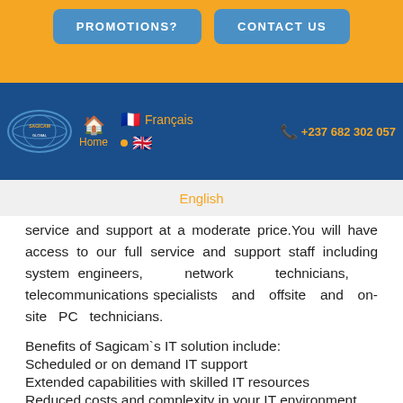PROMOTIONS?   CONTACT US
Home   Français   English   +237 682 302 057
service and support at a moderate price.You will have access to our full service and support staff including system engineers, network technicians, telecommunications specialists and offsite and on-site PC technicians.
Benefits of Sagicam`s IT solution include:
Scheduled or on demand IT support
Extended capabilities with skilled IT resources
Reduced costs and complexity in your IT environment
Single point of contact for technology
Affordable computer network installation
Our highly skilled technicians will be there every time to do